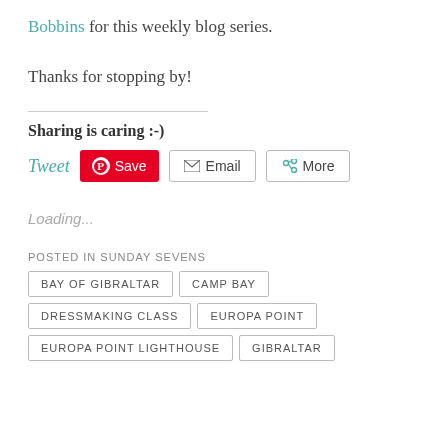Bobbins for this weekly blog series.
Thanks for stopping by!
Sharing is caring :-)
Tweet  Save  Email  More
Loading...
POSTED IN SUNDAY SEVENS
BAY OF GIBRALTAR
CAMP BAY
DRESSMAKING CLASS
EUROPA POINT
EUROPA POINT LIGHTHOUSE
GIBRALTAR